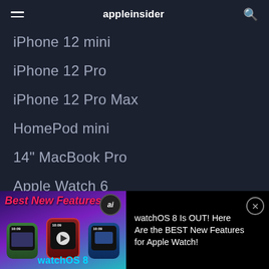appleinsider
iPhone 12 mini
iPhone 12 Pro
iPhone 12 Pro Max
HomePod mini
14" MacBook Pro
Apple Watch 6
iPad Air
More...
[Figure (screenshot): Advertisement banner at bottom: left side shows Apple Watch video thumbnail with 'Best New Features' text and 'watchOS 8' branding; right side shows text 'watchOS 8 Is OUT! Here Are the BEST New Features for Apple Watch!' with close button]